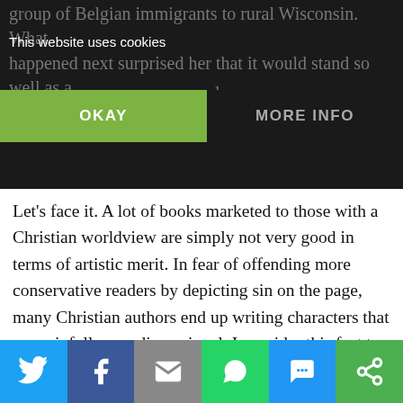group of Belgian immigrants to rural Wisconsin. What happened next surprised her that it would stand so well as a novel.
This website uses cookies
OKAY | MORE INFO
Let's face it. A lot of books marketed to those with a Christian worldview are simply not very good in terms of artistic merit. In fear of offending more conservative readers by depicting sin on the page, many Christian authors end up writing characters that are painfully one-dimensional. I consider this fact to be a real problem, not only in books, but in other Christian media as well. It is a grave mistake to underestimate the power of story in spreading the Gospel. After all, Salvation history is itself the greatest story ever told, centered in every time and place